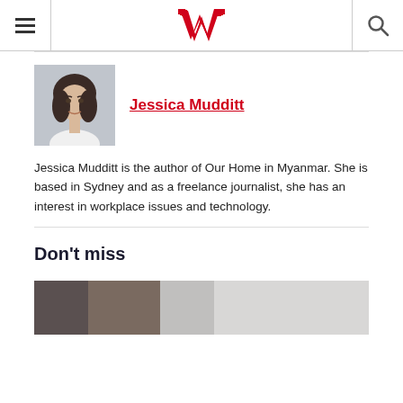Westpac Wire — navigation header with hamburger menu, Westpac logo, and search icon
[Figure (photo): Headshot of Jessica Mudditt, a woman with dark hair, wearing a white top, photographed against a light background]
Jessica Mudditt
Jessica Mudditt is the author of Our Home in Myanmar. She is based in Sydney and as a freelance journalist, she has an interest in workplace issues and technology.
Don't miss
[Figure (photo): Partial image of a person, cropped at bottom of page, below the Don't miss heading]